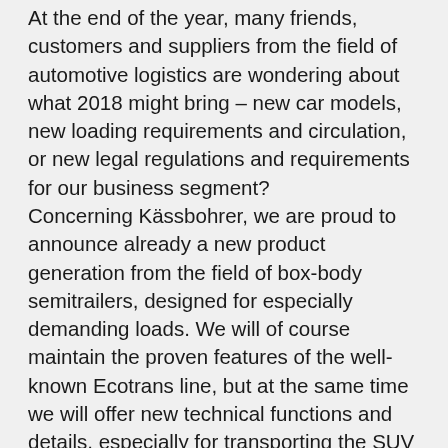At the end of the year, many friends, customers and suppliers from the field of automotive logistics are wondering about what 2018 might bring – new car models, new loading requirements and circulation, or new legal regulations and requirements for our business segment? Concerning Kässbohrer, we are proud to announce already a new product generation from the field of box-body semitrailers, designed for especially demanding loads. We will of course maintain the proven features of the well-known Ecotrans line, but at the same time we will offer new technical functions and details, especially for transporting the SUV types, which keep growing larger and heavier. A wide range of ideas and innovations is being put to the acid test now. We will use the winter season – on the road as well as on our CAD screens – to be able to show you more details of our new product as soon as possible. It is our firm goal to provide our premium partners of automotive logistics with a